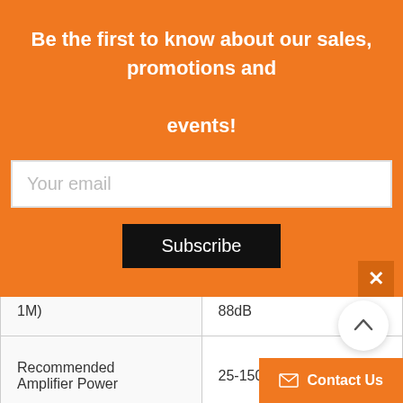Be the first to know about our sales, promotions and events!
Your email
Subscribe
| 1M) | 88dB |
| Recommended Amplifier Power | 25-150W |
| Peak SBL | 105d... |